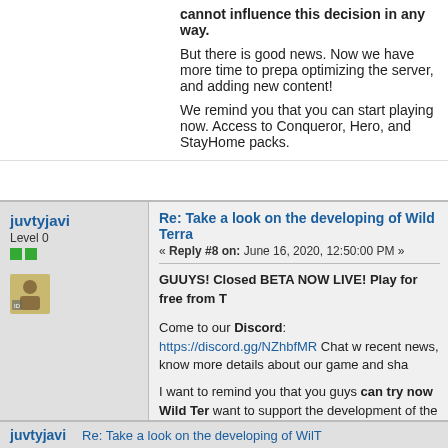cannot influence this decision in any way.
But there is good news. Now we have more time to prepare, optimizing the server, and adding new content!
We remind you that you can start playing now. Access to Conqueror, Hero, and StayHome packs.
juvtyjavi
Level 0
Re: Take a look on the developing of Wild Terra
« Reply #8 on: June 16, 2020, 12:50:00 PM »
GUUYS! Closed BETA NOW LIVE! Play for free from T
Come to our Discord: https://discord.gg/NZhbfMR Chat w recent news, know more details about our game and sha
I want to remind you that you guys can try now Wild Ter want to support the development of the game, you can co mind that the game is under development and there may
https://www.wildterra2.com/
juvtyjavi
Re: Take a look on the developing of WilT